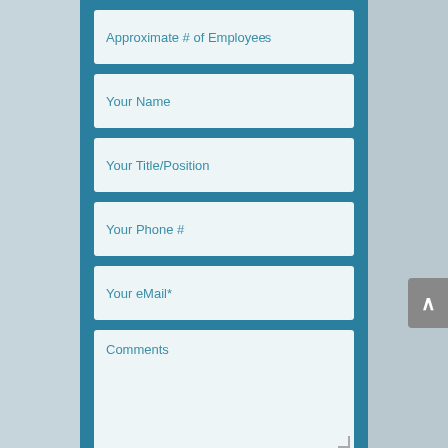Approximate # of Employees
Your Name
Your Title/Position
Your Phone #
Your eMail*
Comments
SUBMIT